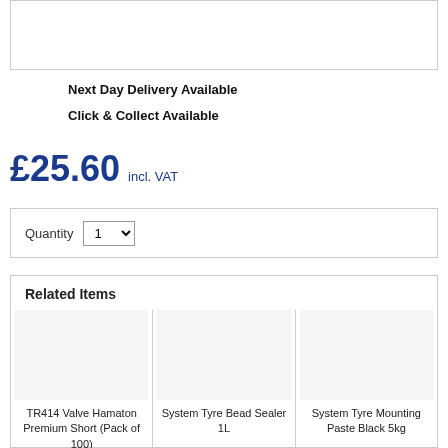[Figure (other): Top image/product image box (empty/blank white box with border)]
Next Day Delivery Available
Click & Collect Available
£25.60 incl. VAT
Quantity 1
Related Items
TR414 Valve Hamaton Premium Short (Pack of 100)
System Tyre Bead Sealer 1L
System Tyre Mounting Paste Black 5kg